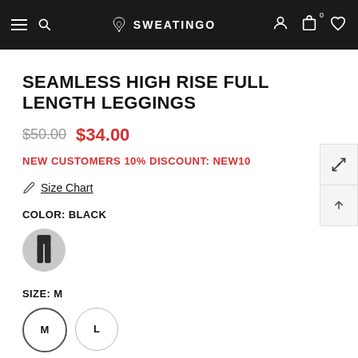SWEATINGO — navigation bar with hamburger, search, account, cart (0), wishlist
SEAMLESS HIGH RISE FULL LENGTH LEGGINGS
$50.00  $34.00
NEW CUSTOMERS 10% DISCOUNT: NEW10
Size Chart
COLOR: BLACK
[Figure (illustration): Black leggings color swatch thumbnail (circular)]
SIZE: M
M  L
QUANTITY